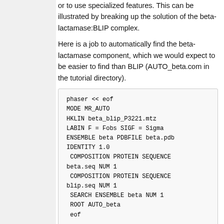or to use specialized features. This can be illustrated by breaking up the solution of the beta-lactamase:BLIP complex.
Here is a job to automatically find the beta-lactamase component, which we would expect to be easier to find than BLIP (AUTO_beta.com in the tutorial directory).
phaser << eof
MODE MR_AUTO
HKLIN beta_blip_P3221.mtz
LABIN F = Fobs SIGF = Sigma
ENSEMBLE beta PDBFILE beta.pdb IDENTITY 1.0
COMPOSITION PROTEIN SEQUENCE beta.seq NUM 1
COMPOSITION PROTEIN SEQUENCE blip.seq NUM 1
SEARCH ENSEMBLE beta NUM 1
ROOT AUTO_beta
eof
Compared to the fully automated job searching for both components, the only important difference is the removal of the second SEARCH command. We could have defined